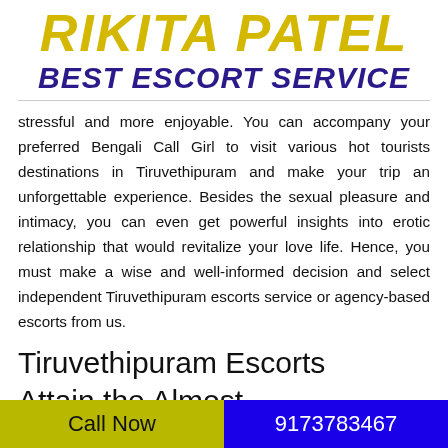RIKITA PATEL BEST ESCORT SERVICE
stressful and more enjoyable. You can accompany your preferred Bengali Call Girl to visit various hot tourists destinations in Tiruvethipuram and make your trip an unforgettable experience. Besides the sexual pleasure and intimacy, you can even get powerful insights into erotic relationship that would revitalize your love life. Hence, you must make a wise and well-informed decision and select independent Tiruvethipuram escorts service or agency-based escorts from us.
Tiruvethipuram Escorts Attain the Almost
Call Now   9173783467